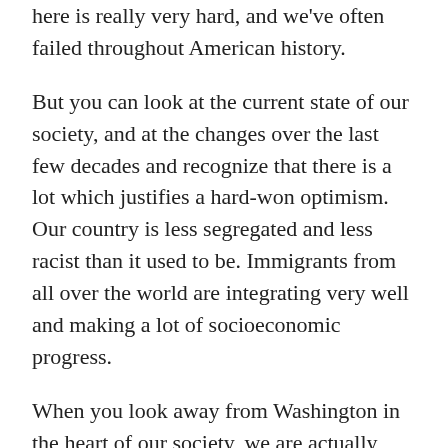here is really very hard, and we've often failed throughout American history.
But you can look at the current state of our society, and at the changes over the last few decades and recognize that there is a lot which justifies a hard-won optimism. Our country is less segregated and less racist than it used to be. Immigrants from all over the world are integrating very well and making a lot of socioeconomic progress.
When you look away from Washington in the heart of our society, we are actually cooperating with each other across ethnic and religious boundaries much more than we used to. None of that should make us complacent, but it should give us confidence that we can build a better society. Without that confidence, the likelihood of failure is going to be much higher.